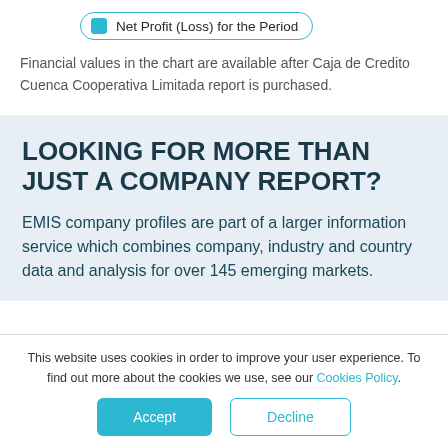[Figure (other): Legend item showing a teal square icon with label 'Net Profit (Loss) for the Period' inside a rounded border box]
Financial values in the chart are available after Caja de Credito Cuenca Cooperativa Limitada report is purchased.
LOOKING FOR MORE THAN JUST A COMPANY REPORT?
EMIS company profiles are part of a larger information service which combines company, industry and country data and analysis for over 145 emerging markets.
This website uses cookies in order to improve your user experience. To find out more about the cookies we use, see our Cookies Policy.